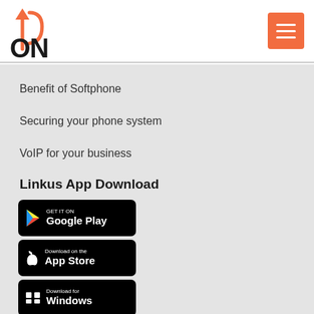[Figure (logo): UpON logo with orange arrow and black ON text]
[Figure (other): Orange hamburger menu button with three white lines]
Benefit of Softphone
Securing your phone system
VoIP for your business
Linkus App Download
[Figure (other): GET IT ON Google Play button (black)]
[Figure (other): Download on the App Store button (black)]
[Figure (other): Download for Windows button (black)]
[Figure (other): Download for MacOS button (black)]
[Figure (other): Available in the Chrome Web Store button (white)]